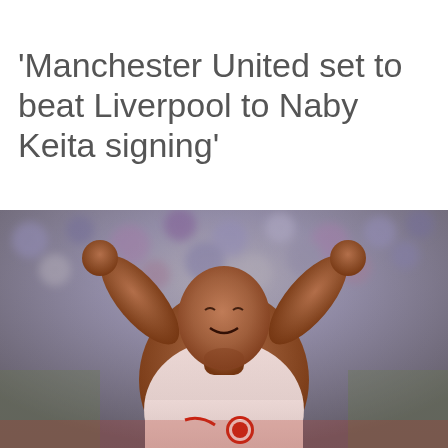‘Manchester United set to beat Liverpool to Naby Keita signing’
[Figure (photo): A football player wearing a white RB Leipzig jersey with arms raised and fists clenched in celebration, crowd blurred in background]